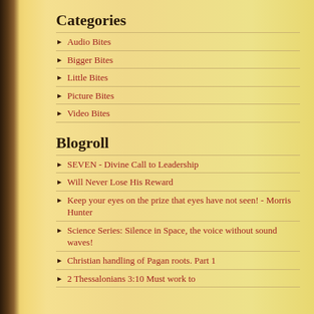Categories
Audio Bites
Bigger Bites
Little Bites
Picture Bites
Video Bites
Blogroll
SEVEN - Divine Call to Leadership
Will Never Lose His Reward
Keep your eyes on the prize that eyes have not seen! - Morris Hunter
Science Series: Silence in Space, the voice without sound waves!
Christian handling of Pagan roots. Part 1
2 Thessalonians 3:10 Must work to